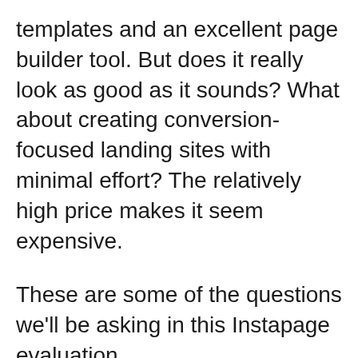templates and an excellent page builder tool. But does it really look as good as it sounds? What about creating conversion-focused landing sites with minimal effort? The relatively high price makes it seem expensive.
These are some of the questions we'll be asking in this Instapage evaluation.
This review will help to decide if Instapage can be used for your project. We'll cover the main features, as well as how it feels to use.
Let's get started.